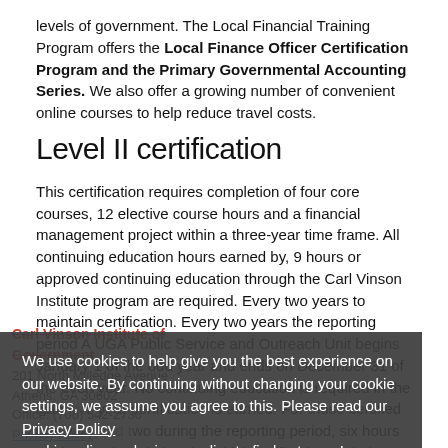levels of government. The Local Financial Training Program offers the Local Finance Officer Certification Program and the Primary Governmental Accounting Series. We also offer a growing number of convenient online courses to help reduce travel costs.
Level II certification
This certification requires completion of four core courses, 12 elective course hours and a financial management project within a three-year time frame. All continuing education hours earned by, 9 hours or approved continuing education through the Carl Vinson Institute program are required. Every two years to maintain certification. Every two years reporting period A UGA Public Service and Outreach Unit begins January 1 of the odd year and ends on December 31 of the even year. No continuing education is required in the calendar year certification is earned. For those certified one year and two during the reporting period, six hours will be required during the initial certification period.
Carl Vinson Institute of Government
201 North Milledge Avenue
Athens, GA 30602
Office: (706) 542-2736
Privacy Policy
cookie policy and privacy policy
A UGA Public Service and Outreach Unit